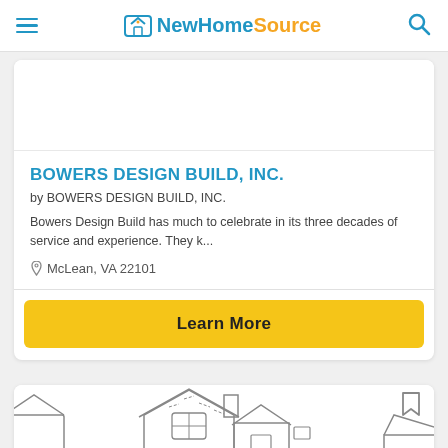NewHomeSource
BOWERS DESIGN BUILD, INC.
by BOWERS DESIGN BUILD, INC.
Bowers Design Build has much to celebrate in its three decades of service and experience. They k...
McLean, VA 22101
Learn More
[Figure (illustration): Partial view of a house illustration in outline style at the bottom of the page]